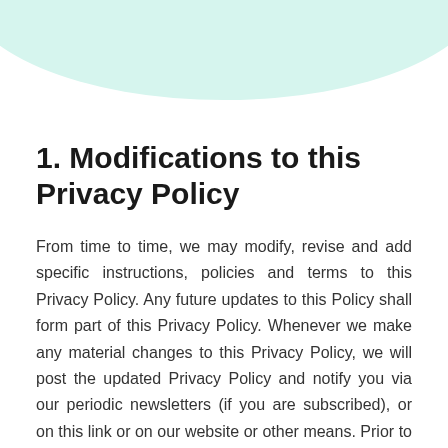1. Modifications to this Privacy Policy
From time to time, we may modify, revise and add specific instructions, policies and terms to this Privacy Policy. Any future updates to this Policy shall form part of this Privacy Policy. Whenever we make any material changes to this Privacy Policy, we will post the updated Privacy Policy and notify you via our periodic newsletters (if you are subscribed), or on this link or on our website or other means. Prior to giving consent, the Data Subject shall be informed of his right and method to withdraw his consent at any given time. However, the withdrawal of consent